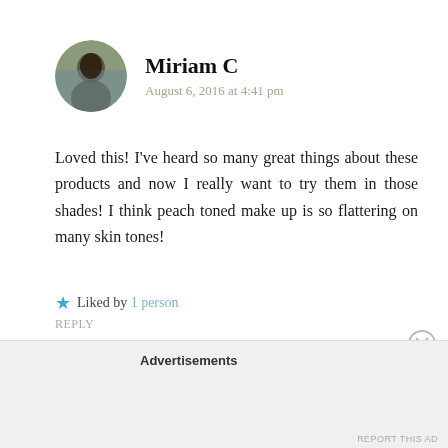[Figure (photo): Circular avatar photo of Miriam C]
Miriam C
August 6, 2016 at 4:41 pm
Loved this! I've heard so many great things about these products and now I really want to try them in those shades! I think peach toned make up is so flattering on many skin tones!
★ Liked by 1 person
REPLY
Advertisements
REPORT THIS AD